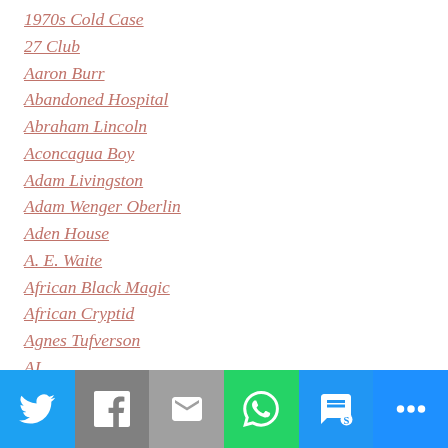1970s Cold Case
27 Club
Aaron Burr
Abandoned Hospital
Abraham Lincoln
Aconcagua Boy
Adam Livingston
Adam Wenger Oberlin
Aden House
A. E. Waite
African Black Magic
African Cryptid
Agnes Tufverson
AI
Aillon Family Murder
Alaskan Mystery
Albany Ghosts
Twitter | Facebook | Email | WhatsApp | SMS | More